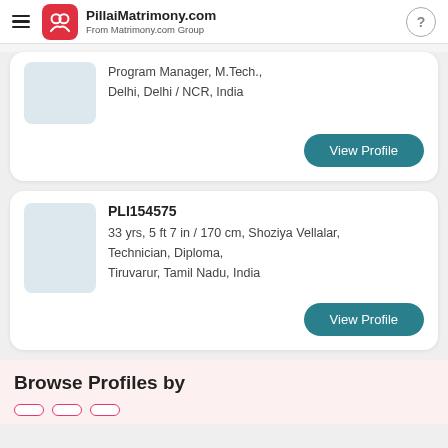PillaiMatrimony.com — From Matrimony.com Group
Program Manager, M.Tech., Delhi, Delhi / NCR, India
View Profile
PLI154575
33 yrs, 5 ft 7 in / 170 cm, Shoziya Vellalar, Technician, Diploma, Tiruvarur, Tamil Nadu, India
View Profile
Browse Profiles by